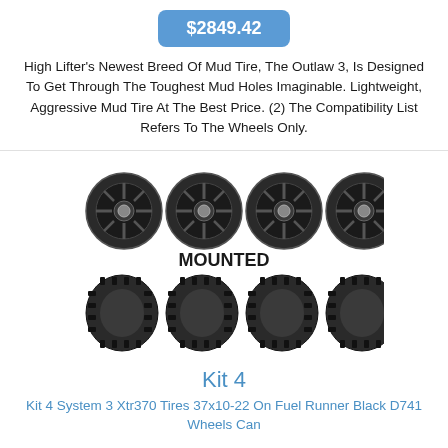$2849.42
High Lifter's Newest Breed Of Mud Tire, The Outlaw 3, Is Designed To Get Through The Toughest Mud Holes Imaginable. Lightweight, Aggressive Mud Tire At The Best Price. (2) The Compatibility List Refers To The Wheels Only.
[Figure (photo): Four dark alloy wheels on top row labeled MOUNTED, four off-road mud tires on bottom row]
Kit 4
Kit 4 System 3 Xtr370 Tires 37x10-22 On Fuel Runner Black D741 Wheels Can